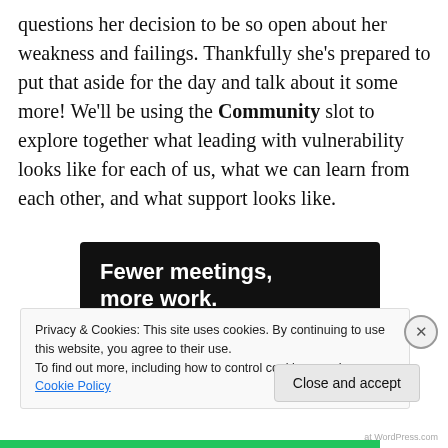questions her decision to be so open about her weakness and failings. Thankfully she's prepared to put that aside for the day and talk about it some more! We'll be using the Community slot to explore together what leading with vulnerability looks like for each of us, what we can learn from each other, and what support looks like.
[Figure (other): Dark advertisement banner with white bold text reading 'Fewer meetings, more work.' and a 'Get started for free' button with rounded border.]
Privacy & Cookies: This site uses cookies. By continuing to use this website, you agree to their use.
To find out more, including how to control cookies, see here: Cookie Policy
Close and accept